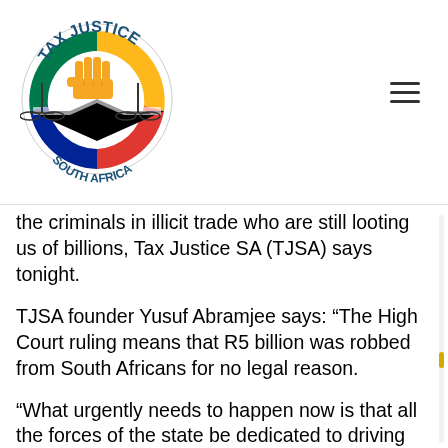[Figure (logo): Tax Justice South Africa logo: circular badge with raised fist holding scales of justice, South African flag colors, text 'TAX JUSTICE' arched at top and 'SOUTH AFRICA' at bottom]
the criminals in illicit trade who are still looting us of billions, Tax Justice SA (TJSA) says tonight.
TJSA founder Yusuf Abramjee says: “The High Court ruling means that R5 billion was robbed from South Africans for no legal reason.
“What urgently needs to happen now is that all the forces of the state be dedicated to driving out the criminals who not only profited from the ban but continue to profit from the lawless environment it’s created.